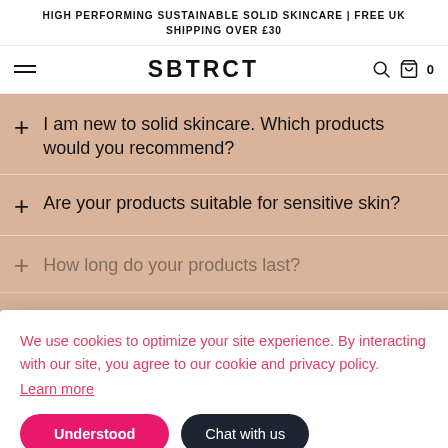HIGH PERFORMING SUSTAINABLE SOLID SKINCARE | FREE UK SHIPPING OVER £30
SBTRCT  0
I am new to solid skincare. Which products would you recommend?
Are your products suitable for sensitive skin?
How long do your products last?
How do I store my products?
Is SBTRCT eco friendly?
We use cookies to optimize your site experience. By interacting with our site, you agree to our cookie and privacy policy.
Learn more
Understood
Chat with us